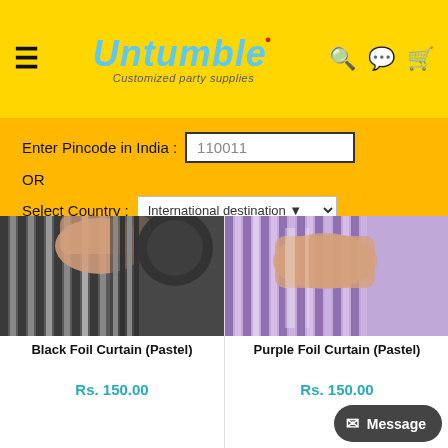[Figure (screenshot): Untumble e-commerce website header with yellow background, hamburger menu, logo 'Untumble - Customized party supplies', search, WhatsApp, and cart icons]
[Figure (screenshot): Pincode entry form with amber/yellow background: 'Enter Pincode in India: 110011' input, OR, 'Select Country: International destination' dropdown, Apply and Cancel buttons]
[Figure (photo): Black foil curtain product image - hands holding black metallic foil fringe curtain]
Black Foil Curtain (Pastel)
Rs. 150.00
[Figure (photo): Purple foil curtain product image - hands holding purple metallic foil fringe curtain]
Purple Foil Curtain (Pastel)
Rs. 150.00